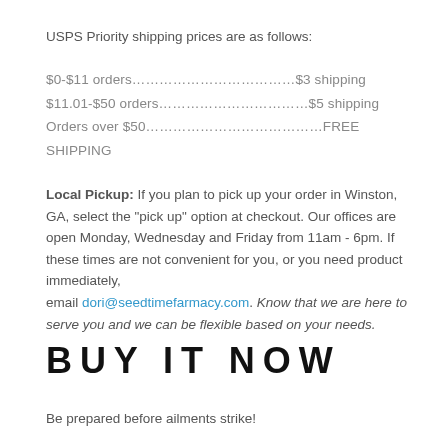USPS Priority shipping prices are as follows:
$0-$11 orders………………………………$3 shipping
$11.01-$50 orders……………………………$5 shipping
Orders over $50……………………………FREE SHIPPING
Local Pickup: If you plan to pick up your order in Winston, GA, select the "pick up" option at checkout. Our offices are open Monday, Wednesday and Friday from 11am - 6pm. If these times are not convenient for you, or you need product immediately, email dori@seedtimefarmacy.com. Know that we are here to serve you and we can be flexible based on your needs.
BUY IT NOW
Be prepared before ailments strike!